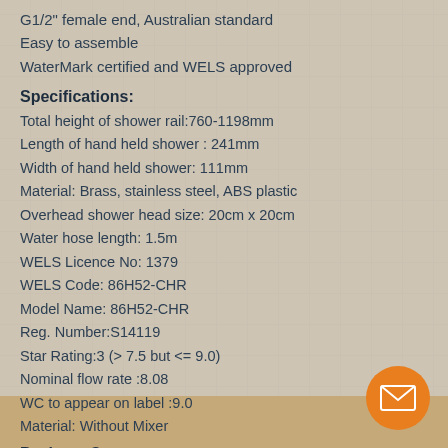G1/2" female end, Australian standard
Easy to assemble
WaterMark certified and WELS approved
Specifications:
Total height of shower rail:760-1198mm
Length of hand held shower : 241mm
Width of hand held shower: 111mm
Material: Brass, stainless steel, ABS plastic
Overhead shower head size: 20cm x 20cm
Water hose length: 1.5m
WELS Licence No: 1379
WELS Code: 86H52-CHR
Model Name: 86H52-CHR
Reg. Number:S14119
Star Rating:3 (> 7.5 but <= 9.0)
Nominal flow rate :8.08
WC to appear on label :9.0
Material: Without Mixer
Package Content:
1x WELS 8" Rain Shower Head Set Rounded Dual Heads Faucet